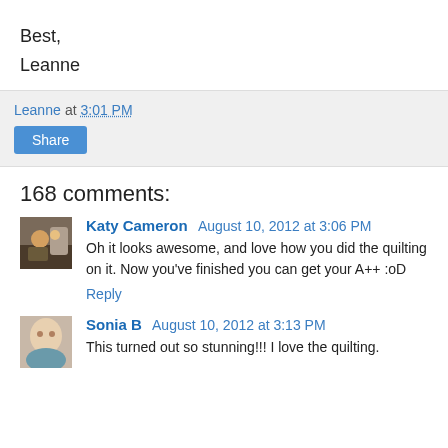Best,
Leanne
Leanne at 3:01 PM
Share
168 comments:
Katy Cameron August 10, 2012 at 3:06 PM
Oh it looks awesome, and love how you did the quilting on it. Now you've finished you can get your A++ :oD
Reply
Sonia B August 10, 2012 at 3:13 PM
This turned out so stunning!!! I love the quilting.